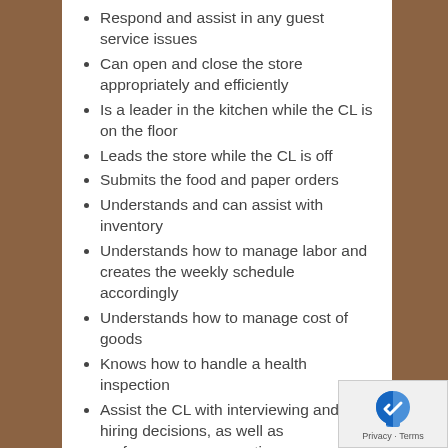Respond and assist in any guest service issues
Can open and close the store appropriately and efficiently
Is a leader in the kitchen while the CL is on the floor
Leads the store while the CL is off
Submits the food and paper orders
Understands and can assist with inventory
Understands how to manage labor and creates the weekly schedule accordingly
Understands how to manage cost of goods
Knows how to handle a health inspection
Assist the CL with interviewing and hiring decisions, as well as performance conversations
Will learn every position in kitchen well enough to be able to train new team members